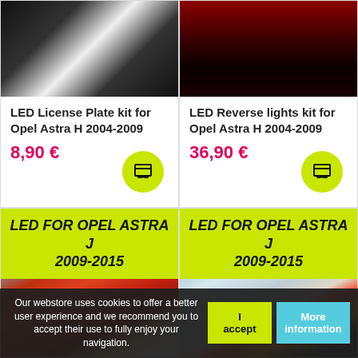[Figure (photo): Dark product photo - LED License Plate Kit for Opel Astra H top left]
LED License Plate kit for Opel Astra H 2004-2009
8,90 €
[Figure (photo): Dark red product photo - LED Reverse lights kit for Opel Astra H top right]
LED Reverse lights kit for Opel Astra H 2004-2009
36,90 €
[Figure (photo): Red Opel Astra J 2009-2015 front headlight photo with lime green label overlay]
LED FOR OPEL ASTRA J 2009-2015
[Figure (photo): Silver Opel Astra J 2009-2015 rear tail light photo with lime green label overlay]
LED FOR OPEL ASTRA J 2009-2015
Our webstore uses cookies to offer a better user experience and we recommend you to accept their use to fully enjoy your navigation.
I accept
More information